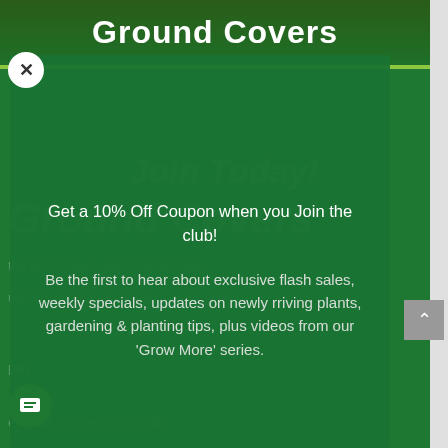Ground Covers
[Figure (screenshot): Website screenshot showing a Ground Covers page with a green modal overlay popup. The popup contains a newsletter signup offer for 10% off coupon and information about exclusive flash sales, weekly specials, plant updates, gardening tips, and Grow More video series. There is an X close button, a scroll-up button, and a chat button visible.]
Get a 10% Off Coupon when you Join the club!
Be the first to hear about exclusive flash sales, weekly specials, updates on newly rriving plants, gardening & planting tips, plus videos from our 'Grow More' series.